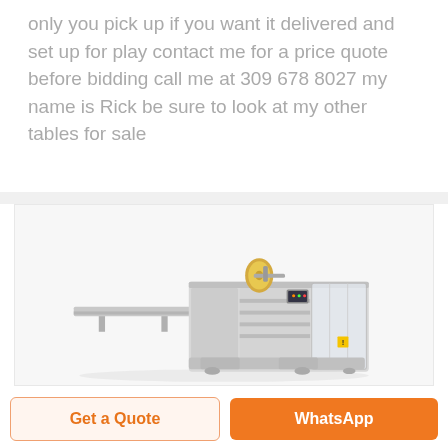only you pick up if you want it delivered and set up for play contact me for a price quote before bidding call me at 309 678 8027 my name is Rick be sure to look at my other tables for sale
[Figure (photo): Industrial horizontal flow wrapping / packaging machine with conveyor belt on the left, film roll on top, and enclosure on the right side, shown in grey on a light background.]
Get a Quote
WhatsApp